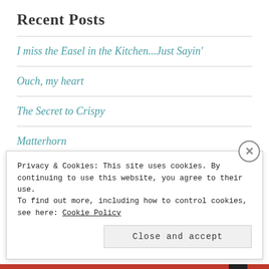Recent Posts
I miss the Easel in the Kitchen...Just Sayin'
Ouch, my heart
The Secret to Crispy
Matterhorn
Keep Your Food Warm...
Privacy & Cookies: This site uses cookies. By continuing to use this website, you agree to their use. To find out more, including how to control cookies, see here: Cookie Policy
Close and accept